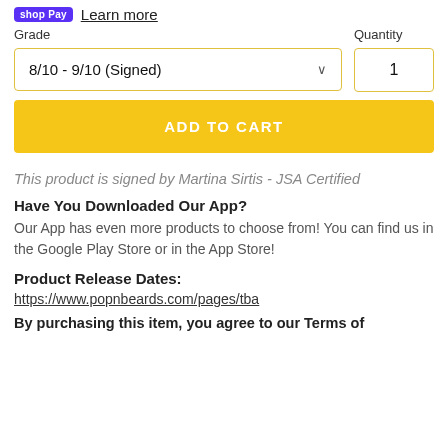shop Pay  Learn more
Grade
Quantity
8/10 - 9/10 (Signed)
1
ADD TO CART
This product is signed by Martina Sirtis - JSA Certified
Have You Downloaded Our App?
Our App has even more products to choose from! You can find us in the Google Play Store or in the App Store!
Product Release Dates:
https://www.popnbeards.com/pages/tba
By purchasing this item, you agree to our Terms of